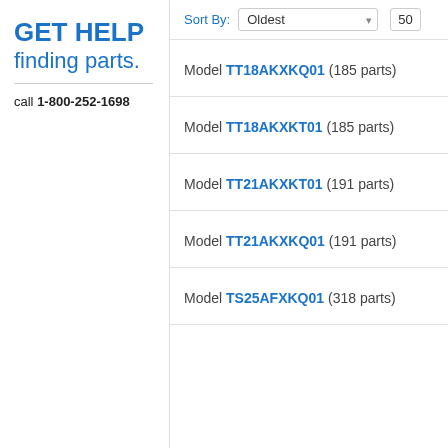GET HELP finding parts.
call 1-800-252-1698
Sort By: Oldest  50
Model TT18AKXKQ01 (185 parts)
Model TT18AKXKT01 (185 parts)
Model TT21AKXKT01 (191 parts)
Model TT21AKXKQ01 (191 parts)
Model TS25AFXKQ01 (318 parts)